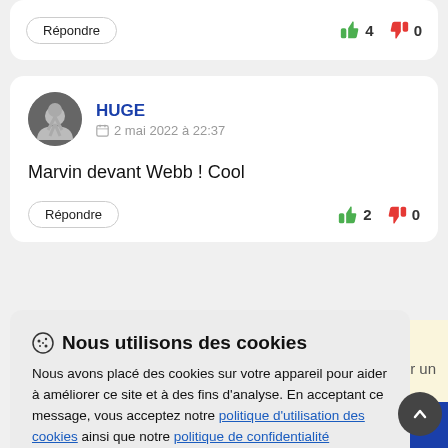Répondre | 4 | 0
HUGE
2 mai 2022 à 22:37
Marvin devant Webb ! Cool
Répondre | 2 | 0
🍪 Nous utilisons des cookies
Nous avons placé des cookies sur votre appareil pour aider à améliorer ce site et à des fins d'analyse. En acceptant ce message, vous acceptez notre politique d'utilisation des cookies ainsi que notre politique de confidentialité
J'accepte
Personalize
CREATION